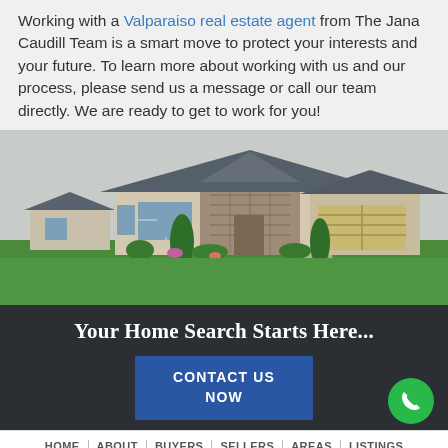Working with a Valparaiso real estate agent from The Jana Caudill Team is a smart move to protect your interests and your future. To learn more about working with us and our process, please send us a message or call our team directly. We are ready to get to work for you!
[Figure (photo): Photo of a large single-story stone and siding ranch-style home with a two-car garage, manicured green lawn, landscaping with shrubs and small trees, and a paved driveway.]
Your Home Search Starts Here...
CONTACT US NOW
HOME | ABOUT | BUYERS | SELLERS | AREAS | LISTINGS